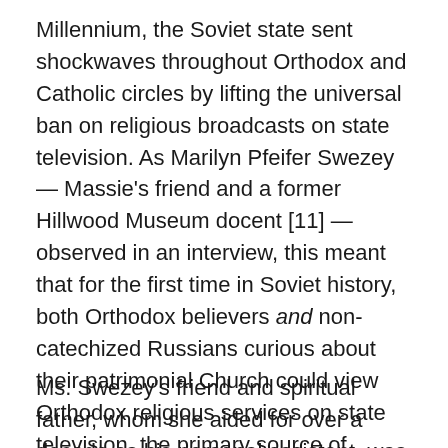Millennium, the Soviet state sent shockwaves throughout Orthodox and Catholic circles by lifting the universal ban on religious broadcasts on state television. As Marilyn Pfeifer Swezey — Massie's friend and a former Hillwood Museum docent [11] — observed in an interview, this meant that for the first time in Soviet history, both Orthodox believers and non-catechized Russians curious about their patrimonial Church could view Orthodox religious services on state television, the primary source of electronic media. As Ms. Swezey recalled, these services were immensely popular in part because everyone wanted the thrill of participating in history, in something that had until only recently been forbidden.
Ms. Swezey's friend and spiritual father, whom she aided for over a decade as his personal assistant, was a